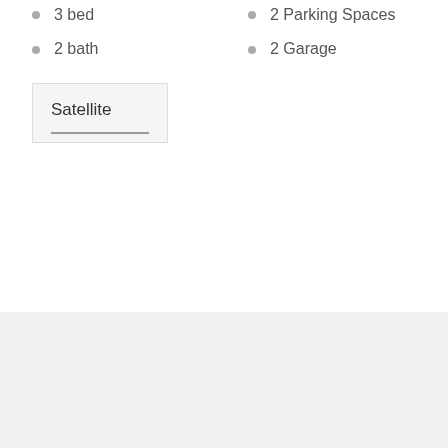3 bed
2 Parking Spaces
2 bath
2 Garage
Satellite
← Previous Property
Next Property →